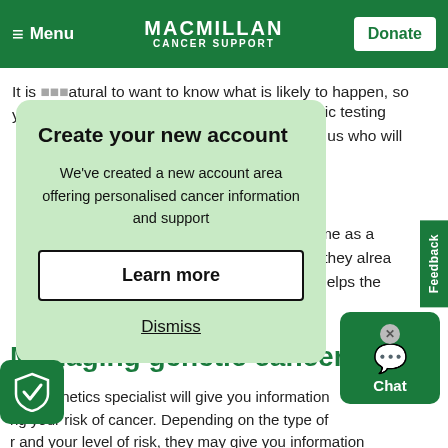Menu | MACMILLAN CANCER SUPPORT | Donate
It is natural to want to know what is likely to happen, so you genetic testing ot tell us who will lop it.
Create your new account
We've created a new account area offering personalised cancer information and support
Learn more
Dismiss
an come as a g told they alre esult helps the
Managing genetic cancer risk
Your genetics specialist will give you information ng your risk of cancer. Depending on the type of and your level of risk, they may give you information about the following.